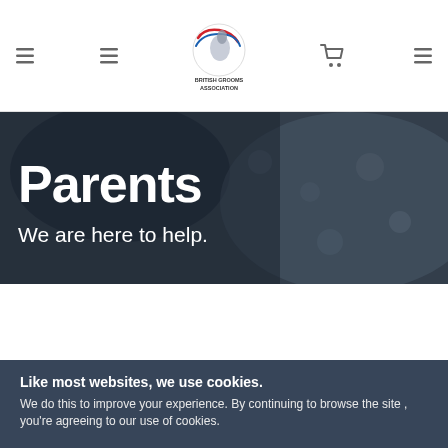British Grooms Association — navigation bar with logo and icons
Parents
We are here to help.
Like most websites, we use cookies.
We do this to improve your experience. By continuing to browse the site , you're agreeing to our use of cookies.